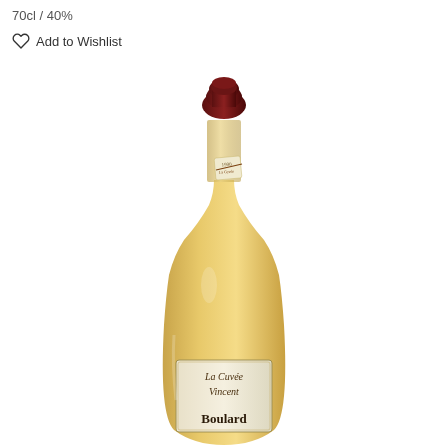70cl / 40%
Add to Wishlist
[Figure (photo): A bottle of Boulard La Cuvée Vincent Calvados with a dark red wax cap, long narrow neck with a small neck label, and a golden amber liquid in the body. The main label reads 'La Cuvée Vincent Boulard' in elegant script.]